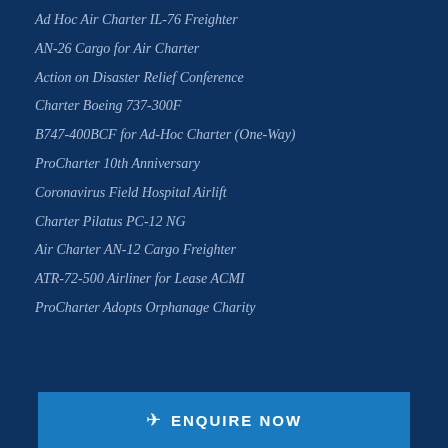Ad Hoc Air Charter IL-76 Freighter
AN-26 Cargo for Air Charter
Action on Disaster Relief Conference
Charter Boeing 737-300F
B747-400BCF for Ad-Hoc Charter (One-Way)
ProCharter 10th Anniversary
Coronavirus Field Hospital Airlift
Charter Pilatus PC-12 NG
Air Charter AN-12 Cargo Freighter
ATR-72-500 Airliner for Lease ACMI
ProCharter Adopts Orphanage Charity
✈ ENQUIRE NOW